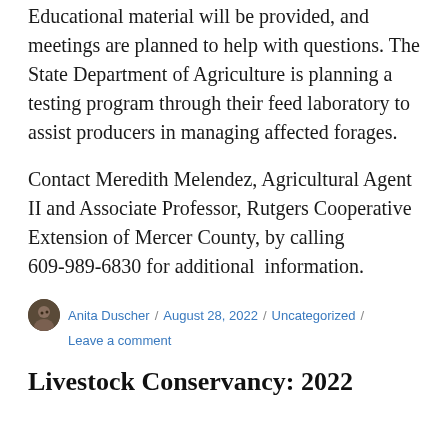Educational material will be provided, and meetings are planned to help with questions. The State Department of Agriculture is planning a testing program through their feed laboratory to assist producers in managing affected forages.
Contact Meredith Melendez, Agricultural Agent II and Associate Professor, Rutgers Cooperative Extension of Mercer County, by calling 609-989-6830 for additional information.
Anita Duscher / August 28, 2022 / Uncategorized / Leave a comment
Livestock Conservancy: 2022